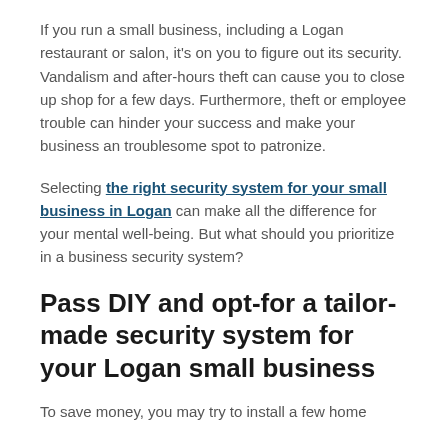If you run a small business, including a Logan restaurant or salon, it's on you to figure out its security. Vandalism and after-hours theft can cause you to close up shop for a few days. Furthermore, theft or employee trouble can hinder your success and make your business an troublesome spot to patronize.
Selecting the right security system for your small business in Logan can make all the difference for your mental well-being. But what should you prioritize in a business security system?
Pass DIY and opt-for a tailor-made security system for your Logan small business
To save money, you may try to install a few home